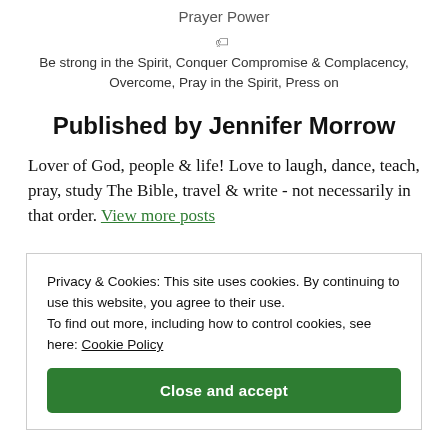Prayer Power
Be strong in the Spirit, Conquer Compromise & Complacency, Overcome, Pray in the Spirit, Press on
Published by Jennifer Morrow
Lover of God, people & life! Love to laugh, dance, teach, pray, study The Bible, travel & write - not necessarily in that order. View more posts
Privacy & Cookies: This site uses cookies. By continuing to use this website, you agree to their use. To find out more, including how to control cookies, see here: Cookie Policy
Close and accept